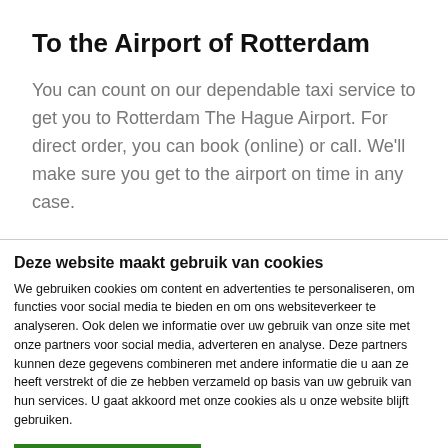To the Airport of Rotterdam
You can count on our dependable taxi service to get you to Rotterdam The Hague Airport. For direct order, you can book (online) or call. We'll make sure you get to the airport on time in any case.
Deze website maakt gebruik van cookies
We gebruiken cookies om content en advertenties te personaliseren, om functies voor social media te bieden en om ons websiteverkeer te analyseren. Ook delen we informatie over uw gebruik van onze site met onze partners voor social media, adverteren en analyse. Deze partners kunnen deze gegevens combineren met andere informatie die u aan ze heeft verstrekt of die ze hebben verzameld op basis van uw gebruik van hun services. U gaat akkoord met onze cookies als u onze website blijft gebruiken.
Alle cookies toestaan
Details tonen